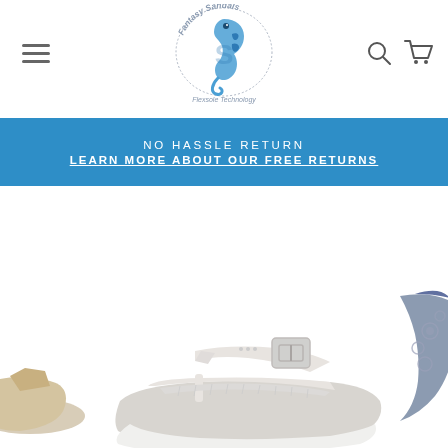[Figure (screenshot): Fantasy Sandals logo — seahorse graphic with text 'Fantasy Sandals' and 'Flexsole Technology' beneath]
[Figure (logo): Hamburger menu icon (three horizontal lines) at top left]
[Figure (logo): Search and cart icons at top right]
NO HASSLE RETURN
LEARN MORE ABOUT OUR FREE RETURNS
[Figure (photo): White platform sandal with buckle strap in center; partial tan sandal on far left; partial blue/grey sandal on far right]